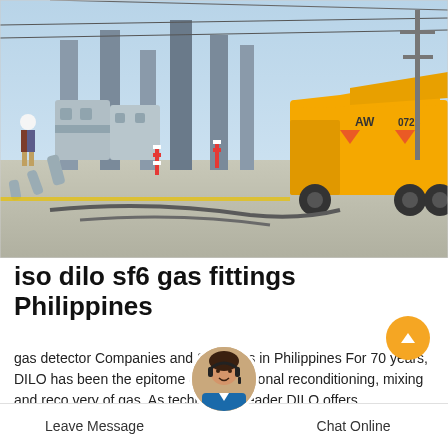[Figure (photo): Electrical substation with high-voltage equipment, cables, and a yellow service truck (marked AW 0725) parked on a concrete road. A worker in a hard hat is visible on the left side.]
iso dilo sf6 gas fittings Philippines
gas detector Companies and Suppliers in Philippines For 70 years, DILO has been the epitome of professional reconditioning, mixing and recovery of gas. As technology leader DILO offers
Leave Message   Chat Online